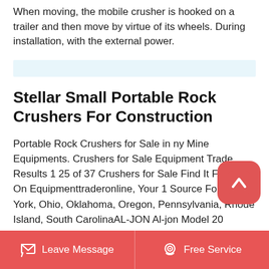When moving, the mobile crusher is hooked on a trailer and then move by virtue of its wheels. During installation, with the external power.
Stellar Small Portable Rock Crushers For Construction
Portable Rock Crushers for Sale in ny Mine Equipments. Crushers for Sale Equipment Trade Results 1 25 of 37 Crushers for Sale Find It For Sale On Equipmenttraderonline, Your 1 Source ForNew York, Ohio, Oklahoma, Oregon, Pennsylvania, Rhode Island, South CarolinaAL-JON Al-jon Model 20 Portable Car Crusher in Moberly, Missouri 1999 CRUSHTECH ROCK.2007 kolberg 4233 portable crushing impact crusher rock aggregate crusher